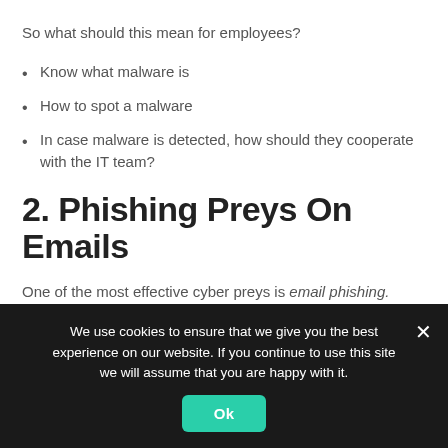So what should this mean for employees?
Know what malware is
How to spot a malware
In case malware is detected, how should they cooperate with the IT team?
2. Phishing Preys On Emails
One of the most effective cyber preys is email phishing. Although a lot of communication means are available today. But email still proves to be mostly used by businesses and enterprises. Thus, making anyone vulnerable on the web.
We use cookies to ensure that we give you the best experience on our website. If you continue to use this site we will assume that you are happy with it.